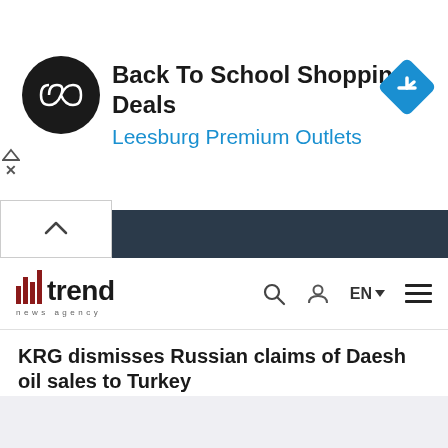[Figure (infographic): Advertisement banner: black circle logo with double infinity/arrow symbol, text 'Back To School Shopping Deals' and 'Leesburg Premium Outlets' in blue, blue diamond navigation icon on the right]
trend news agency
KRG dismisses Russian claims of Daesh oil sales to Turkey